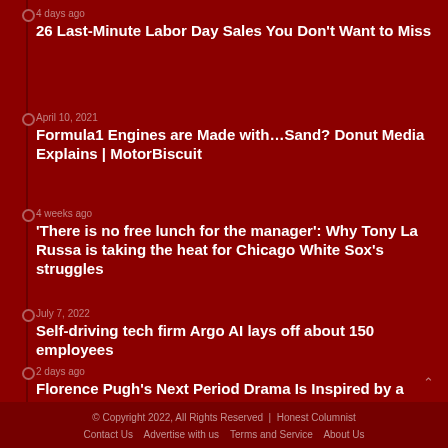4 days ago
26 Last-Minute Labor Day Sales You Don't Want to Miss
April 10, 2021
Formula1 Engines are Made with…Sand? Donut Media Explains | MotorBiscuit
4 weeks ago
'There is no free lunch for the manager': Why Tony La Russa is taking the heat for Chicago White Sox's struggles
July 7, 2022
Self-driving tech firm Argo AI lays off about 150 employees
2 days ago
Florence Pugh's Next Period Drama Is Inspired by a Chilling True Story
© Copyright 2022, All Rights Reserved | Honest Columnist
Contact Us  Advertise with us  Terms and Service  About Us